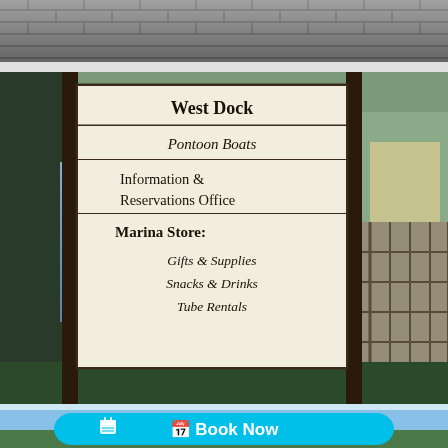[Figure (photo): Top portion of a photo showing a dark shingled roof]
[Figure (photo): A marina directional sign reading: West Dock / Pontoon Boats / Information & Reservations Office / Marina Store: Gifts & Supplies, Snacks & Drinks, Tube Rentals. Sign is mounted between dark wood posts with trees, water, and a dock visible in the background.]
[Figure (photo): Bottom portion of a photo showing sky and tree line with a large cyan 'Book Now' button overlaid on the image]